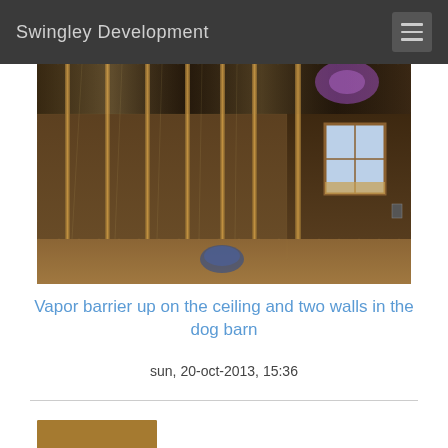Swingley Development
[Figure (photo): Interior of a dog barn showing vapor barrier plastic sheeting installed on the ceiling and two walls, with wooden stud framing visible. The floor is OSB/plywood. A window is visible on the right wall. A purple light is visible in the upper right area.]
Vapor barrier up on the ceiling and two walls in the dog barn
sun, 20-oct-2013, 15:36